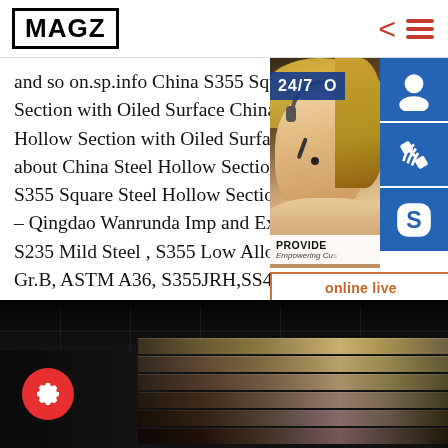MAGZ
and so on.sp.info China S355 Square Steel Hollow Section with Oiled Surface China S355 Hollow Section with Oiled Surface, Find details about China Steel Hollow Section, Steel S355 Square Steel Hollow Section with - Qingdao Wanrunda Imp and Exp Co. S235 Mild Steel , S355 Low Alloy steel, Gr.B, ASTM A36, S355JRH,SS400
[Figure (photo): Customer service representative with headset, 24/7 support banner and contact icons (headset, phone, Skype) with online live chat button overlay on right side of page]
[Figure (photo): Dark warehouse interior with stacked steel beams/sections, gear/settings icon button visible in lower left]